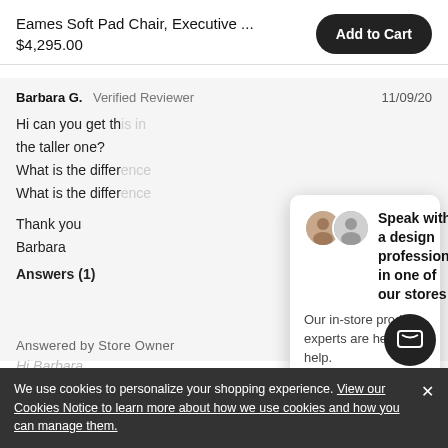Eames Soft Pad Chair, Executive ...
$4,295.00
Add to Cart
Barbara G.  Verified Reviewer   11/09/20
Hi can you get th...
the taller one?
What is the differ...
What is the differ...

Thank you
Barbara
Answers (1)
[Figure (screenshot): Chat popup with avatars, title 'Speak with a design professional in one of our stores', body text 'Our in-store product experts are here to help.', and an 'Ask a question' input field with send button.]
Answered by Store Owner
Hi Barbara,
We use cookies to personalize your shopping experience. View our Cookies Notice to learn more about how we use cookies and how you can manage them.